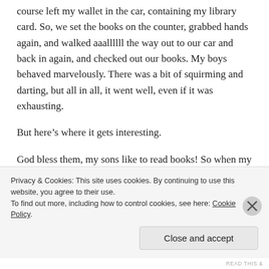course left my wallet in the car, containing my library card. So, we set the books on the counter, grabbed hands again, and walked aaallllll the way out to our car and back in again, and checked out our books. My boys behaved marvelously. There was a bit of squirming and darting, but all in all, it went well, even if it was exhausting.
But here’s where it gets interesting.
God bless them, my sons like to read books! So when my three year old son wanted to lay down in his bed for a nap and look at one of the books we had just checked out, what was I to do? Of COURSE you can read in your bed. There
Privacy & Cookies: This site uses cookies. By continuing to use this website, you agree to their use.
To find out more, including how to control cookies, see here: Cookie Policy
Close and accept